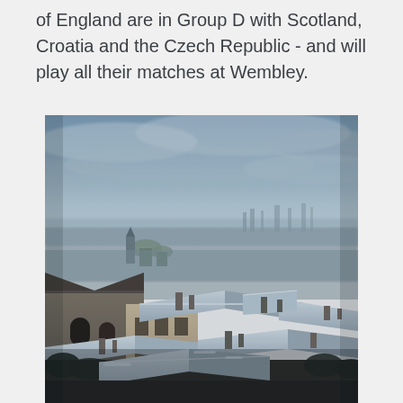of England are in Group D with Scotland, Croatia and the Czech Republic - and will play all their matches at Wembley.
[Figure (photo): Aerial winter cityscape photograph showing snow-dusted rooftops of a historic European city (Prague), with church domes, densely packed buildings, and a cloudy sky in the background.]